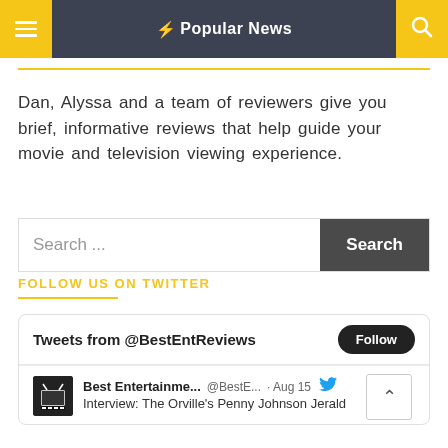Popular News
Dan, Alyssa and a team of reviewers give you brief, informative reviews that help guide your movie and television viewing experience.
Search ...
FOLLOW US ON TWITTER
Tweets from @BestEntReviews
Best Entertainme... @BestE... · Aug 15 Interview: The Orville's Penny Johnson Jerald